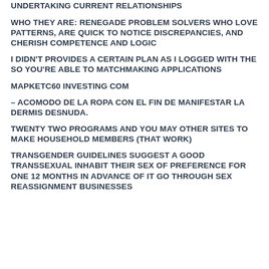UNDERTAKING CURRENT RELATIONSHIPS
WHO THEY ARE: RENEGADE PROBLEM SOLVERS WHO LOVE PATTERNS, ARE QUICK TO NOTICE DISCREPANCIES, AND CHERISH COMPETENCE AND LOGIC
I DIDN'T PROVIDES A CERTAIN PLAN AS I LOGGED WITH THE SO YOU'RE ABLE TO MATCHMAKING APPLICATIONS
MAPKETC60 INVESTING COM
– ACOMODO DE LA ROPA CON EL FIN DE MANIFESTAR LA DERMIS DESNUDA.
TWENTY TWO PROGRAMS AND YOU MAY OTHER SITES TO MAKE HOUSEHOLD MEMBERS (THAT WORK)
TRANSGENDER GUIDELINES SUGGEST A GOOD TRANSSEXUAL INHABIT THEIR SEX OF PREFERENCE FOR ONE 12 MONTHS IN ADVANCE OF IT GO THROUGH SEX REASSIGNMENT BUSINESSES